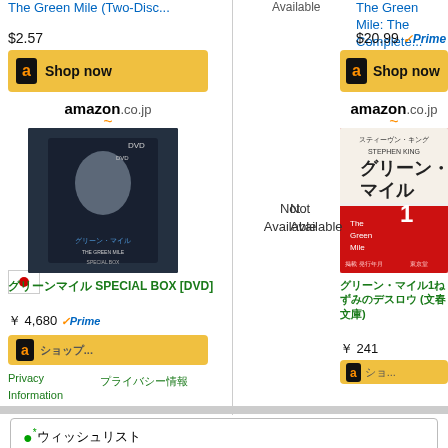The Green Mile (Two-Disc...
Available
The Green Mile: The Complete...
$2.57
$20.99 Prime
[Figure (logo): Amazon Shop now button (left)]
[Figure (logo): Amazon Shop now button (right)]
[Figure (logo): amazon.co.jp logo left]
[Figure (logo): amazon.co.jp logo right]
[Figure (photo): Green Mile DVD box set Japanese edition]
[Figure (photo): Green Mile book Japanese edition]
Not Available  Not Available
グリーンマイル SPECIAL BOX [DVD]
￥ 4,680 Prime
グリーン・マイル1ねずみのデスロウ (文春文庫)
￥ 241
Privacy Information
プライバシー情報
●*ウィッシュリスト
Not available
Not available